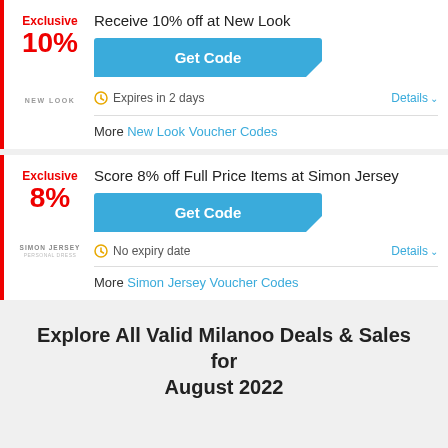Exclusive 10% — Receive 10% off at New Look
Get Code
Expires in 2 days
Details
More New Look Voucher Codes
Exclusive 8% — Score 8% off Full Price Items at Simon Jersey
Get Code
No expiry date
Details
More Simon Jersey Voucher Codes
Explore All Valid Milanoo Deals & Sales for August 2022